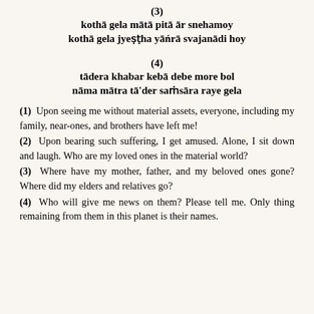(3)
kothā gela mātā pitā ār snehamoy
kothā gela jyeṣṭha yāńrā svajanādi hoy
(4)
tādera khabar kebā debe more bol
nāma mātra tā'der saṁsāra raye gela
(1) Upon seeing me without material assets, everyone, including my family, near-ones, and brothers have left me!
(2) Upon bearing such suffering, I get amused. Alone, I sit down and laugh. Who are my loved ones in the material world?
(3) Where have my mother, father, and my beloved ones gone? Where did my elders and relatives go?
(4) Who will give me news on them? Please tell me. Only thing remaining from them in this planet is their names.